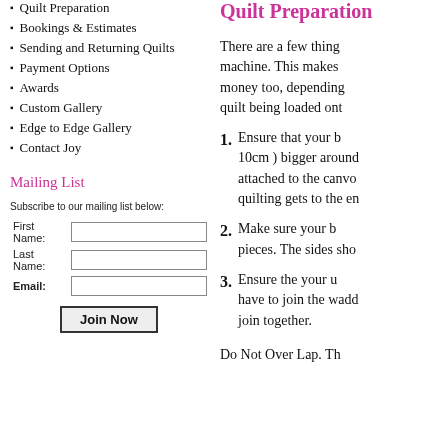Quilt Preparation
Bookings & Estimates
Sending and Returning Quilts
Payment Options
Awards
Custom Gallery
Edge to Edge Gallery
Contact Joy
Mailing List
Subscribe to our mailing list below:
Quilt Preparation
There are a few thing machine. This makes money too, depending quilt being loaded ont
1. Ensure that your b 10cm ) bigger around attached to the canvo quilting gets to the en
2. Make sure your b pieces. The sides sho
3. Ensure the your u have to join the wadd join together.
Do Not Over Lap. Th